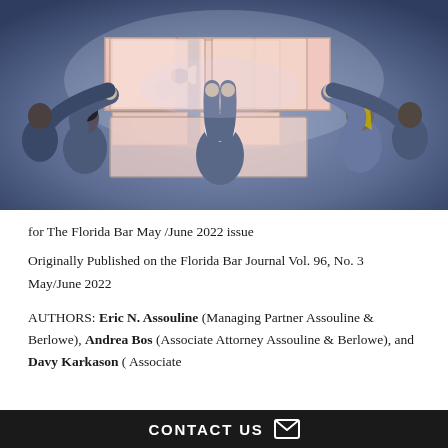[Figure (illustration): Illustration of several people holding up puzzle pieces together above their heads, rendered in a blue-grey artistic style suggesting collaboration or teamwork.]
for The Florida Bar May /June 2022 issue
Originally Published on the Florida Bar Journal Vol. 96, No. 3  May/June 2022
AUTHORS: Eric N. Assouline (Managing Partner Assouline & Berlowe), Andrea Bos (Associate Attorney Assouline & Berlowe), and Davy Karkason ( Associate
CONTACT US